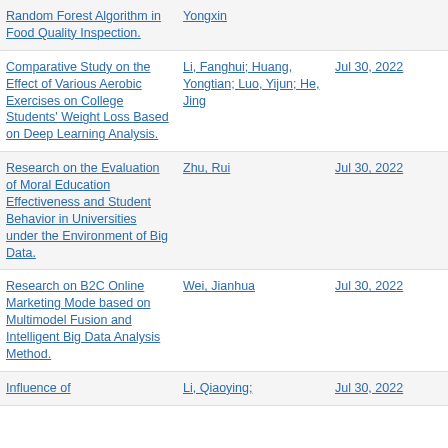| Title | Author(s) | Date | Views |
| --- | --- | --- | --- |
| Random Forest Algorithm in Food Quality Inspection. | Yongxin |  |  |
| Comparative Study on the Effect of Various Aerobic Exercises on College Students' Weight Loss Based on Deep Learning Analysis. | Li, Fanghui; Huang, Yongtian; Luo, Yijun; He, Jing | Jul 30, 2022 | 6316 |
| Research on the Evaluation of Moral Education Effectiveness and Student Behavior in Universities under the Environment of Big Data. | Zhu, Rui | Jul 30, 2022 | 5615 |
| Research on B2C Online Marketing Mode based on Multimodel Fusion and Intelligent Big Data Analysis Method. | Wei, Jianhua | Jul 30, 2022 | 4605 |
| Influence of | Li, Qiaoying; | Jul 30, 2022 | 5384 |